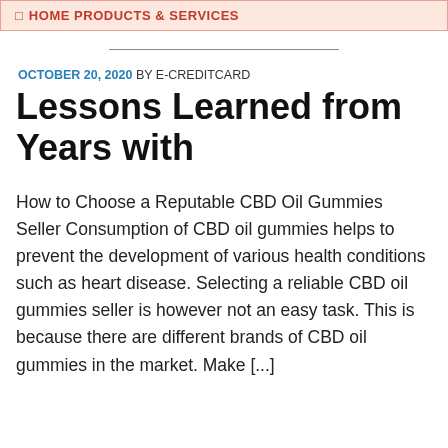HOME PRODUCTS & SERVICES
Lessons Learned from Years with
OCTOBER 20, 2020 BY E-CREDITCARD
How to Choose a Reputable CBD Oil Gummies Seller Consumption of CBD oil gummies helps to prevent the development of various health conditions such as heart disease. Selecting a reliable CBD oil gummies seller is however not an easy task. This is because there are different brands of CBD oil gummies in the market. Make [...]